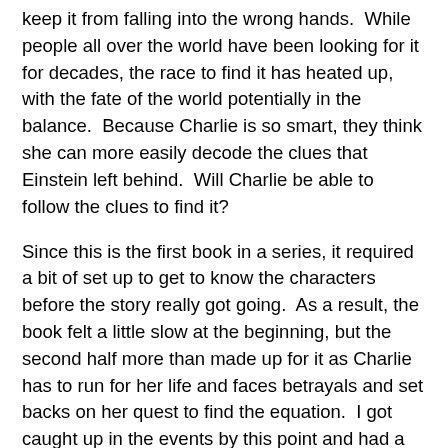keep it from falling into the wrong hands.  While people all over the world have been looking for it for decades, the race to find it has heated up, with the fate of the world potentially in the balance.  Because Charlie is so smart, they think she can more easily decode the clues that Einstein left behind.  Will Charlie be able to follow the clues to find it?
Since this is the first book in a series, it required a bit of set up to get to know the characters before the story really got going.  As a result, the book felt a little slow at the beginning, but the second half more than made up for it as Charlie has to run for her life and faces betrayals and set backs on her quest to find the equation.  I got caught up in the events by this point and had a hard time putting the book down.
Of course, we do need that set up since we are meeting everyone here for the first time.  We get to really know Charlie and another couple of characters as the book progresses.  In the midst of all the action, there are some great moments of character growth for each of them, which doesn't surprise me at all.  This isn't to say the rest of the characters aren't as good, but they don't have the page time